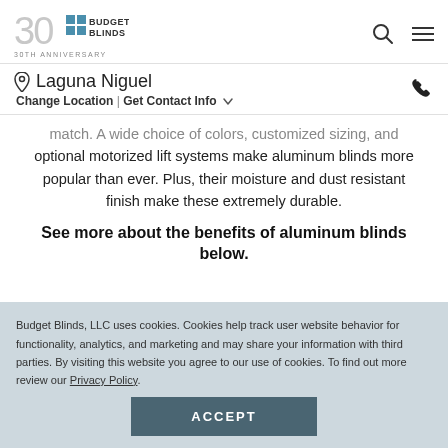Budget Blinds — 30th Anniversary
Laguna Niguel — Change Location | Get Contact Info
match. A wide choice of colors, customized sizing, and optional motorized lift systems make aluminum blinds more popular than ever. Plus, their moisture and dust resistant finish make these extremely durable.
See more about the benefits of aluminum blinds below.
Budget Blinds, LLC uses cookies. Cookies help track user website behavior for functionality, analytics, and marketing and may share your information with third parties. By visiting this website you agree to our use of cookies. To find out more review our Privacy Policy.